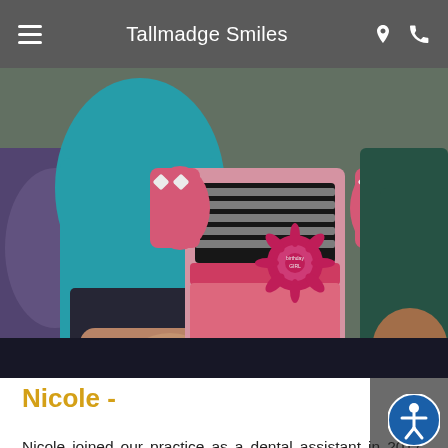Tallmadge Smiles
[Figure (photo): Photo showing children and adults seated together; a young girl in a pink dress with a pink rosette badge in the center foreground, a child in a teal shirt to the left, and adult figures partially visible on either side.]
Nicole -
Nicole joined our practice as a dental assistant in 2017. She brought with her numerous years of chairside dental experience. She and her husband,